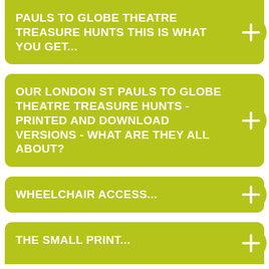PERSONALISED TREASURE HUNT ST PAULS TO GLOBE THEATRE TREASURE HUNTS THIS IS WHAT YOU GET...
OUR LONDON ST PAULS TO GLOBE THEATRE TREASURE HUNTS - PRINTED AND DOWNLOAD VERSIONS - WHAT ARE THEY ALL ABOUT?
WHEELCHAIR ACCESS...
THE SMALL PRINT...